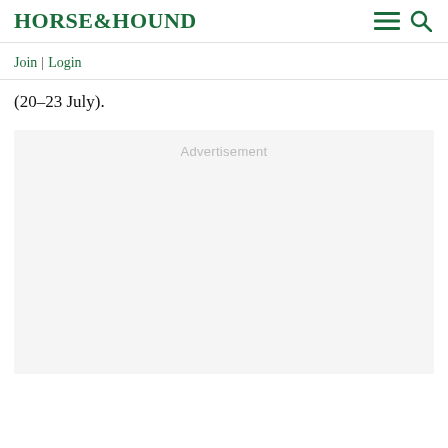HORSE&HOUND
Join | Login
(20–23 July).
[Figure (other): Advertisement placeholder box with light grey background and 'Advertisement' label text centered at top]